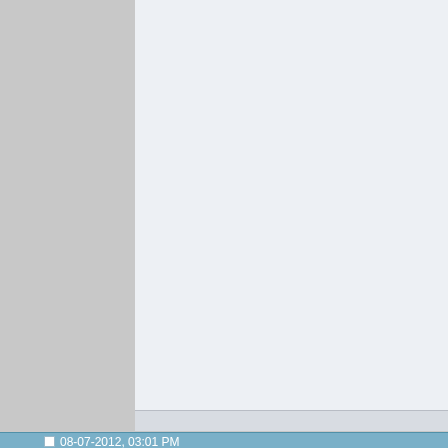can't access Rizon. Worst case, you get banned from Rizon and charged for political crimes, laws which can be brought against people. This is a far fetched nightmare, but in some countries this is reality.
The solution you proposed, while valid, requires more work than is actually required. All you would need to do to allow tor access is to implement a DNSBL (I already have this, or you couldn't post here), apply it to all users from those IPs. This allows the admin to choose to ban the entire tor host, or allow an hour or two maximum of work, I believe this is more desirable than just banning everything.
If more help is required, just let me know, I've setup private IRCds before.
I will also offer a 5 Bitcoin (~$5 at the time) bounty to the Rizon network upon implementation, and encourage others with similar o
Last edited by Reikoku; 08-07-2012 a
08-07-2012, 03:01 PM